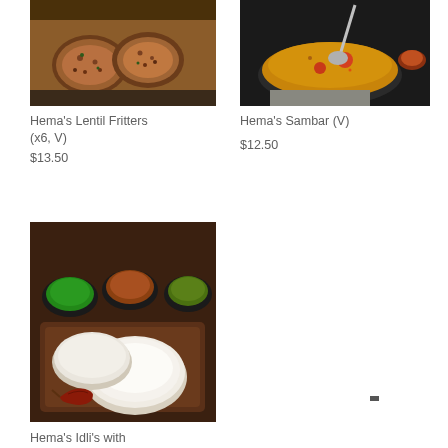[Figure (photo): Photo of Hema's Lentil Fritters - golden fried lentil vada fritters on a dark tray]
[Figure (photo): Photo of Hema's Sambar - orange/yellow lentil soup in a dark bowl with a ladle]
Hema's Lentil Fritters (x6, V)
$13.50
Hema's Sambar (V)
$12.50
[Figure (photo): Photo of Hema's Idli's with Chutneys - white steamed rice cakes on a wooden board with small bowls of chutney and a dried red chilli]
Hema's Idli's with Chutneys (x6, Vg)